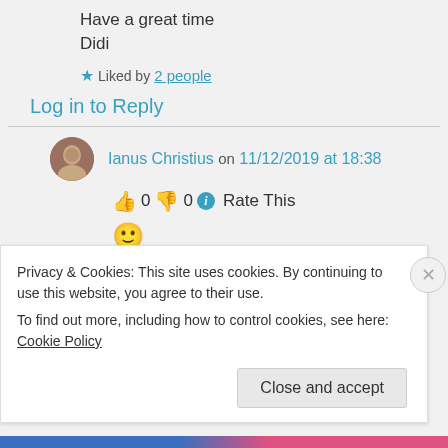Have a great time
Didi
Liked by 2 people
Log in to Reply
Ianus Christius on 11/12/2019 at 18:38
👍 0 👎 0 ℹ Rate This
🙂
Privacy & Cookies: This site uses cookies. By continuing to use this website, you agree to their use.
To find out more, including how to control cookies, see here: Cookie Policy
Close and accept